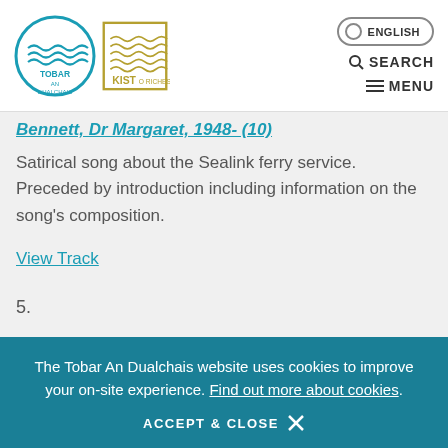[Figure (logo): Tobar an Dualchais and Kist o Riches logos]
ENGLISH
SEARCH
MENU
Bennett, Dr Margaret, 1948- (10)
Satirical song about the Sealink ferry service. Preceded by introduction including information on the song's composition.
View Track
5.
The Tobar An Dualchais website uses cookies to improve your on-site experience. Find out more about cookies.
ACCEPT & CLOSE